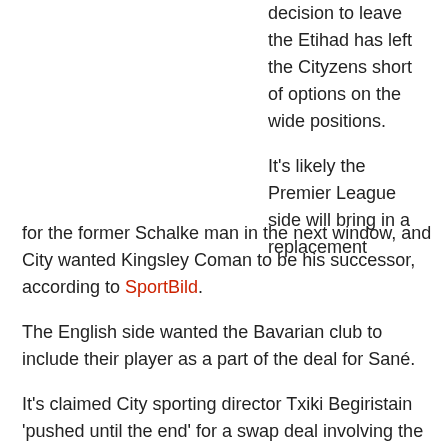decision to leave the Etihad has left the Cityzens short of options on the wide positions.
It's likely the Premier League side will bring in a replacement for the former Schalke man in the next window, and City wanted Kingsley Coman to be his successor, according to SportBild.
The English side wanted the Bavarian club to include their player as a part of the deal for Sané.
It's claimed City sporting director Txiki Begiristain 'pushed until the end' for a swap deal involving the France international and the